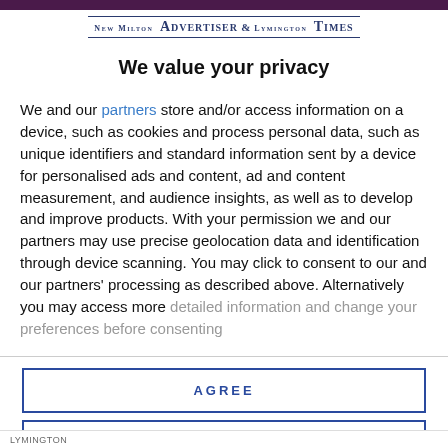[Figure (logo): New Milton Advertiser & Lymington Times newspaper logo with double rule border]
We value your privacy
We and our partners store and/or access information on a device, such as cookies and process personal data, such as unique identifiers and standard information sent by a device for personalised ads and content, ad and content measurement, and audience insights, as well as to develop and improve products. With your permission we and our partners may use precise geolocation data and identification through device scanning. You may click to consent to our and our partners' processing as described above. Alternatively you may access more detailed information and change your preferences before consenting
AGREE
MORE OPTIONS